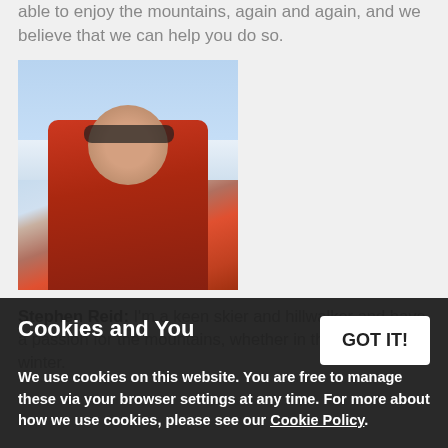able to enjoy the mountains again and again, and we believe that we can help you do so.
[Figure (photo): Headshot of Stephen Reid wearing sunglasses and a red jacket on a snowy mountain with blue sky in the background.]
Stephen Reid: I'm a keen skier and hillwalker and have a passion for the mountains, whether in the summer or winter.
Cookies and You
We use cookies on this website. You are free to manage these via your browser settings at any time. For more about how we use cookies, please see our Cookie Policy.